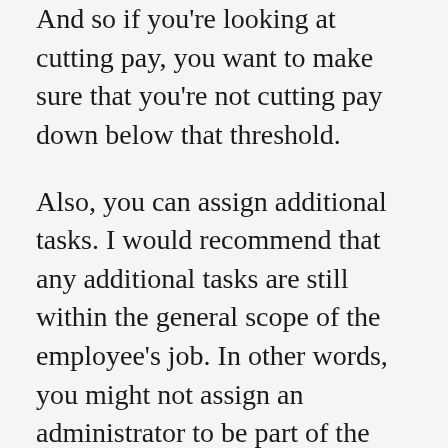And so if you're looking at cutting pay, you want to make sure that you're not cutting pay down below that threshold.
Also, you can assign additional tasks. I would recommend that any additional tasks are still within the general scope of the employee's job. In other words, you might not assign an administrator to be part of the maintenance staff, but if you have grounds crews and you would like to give them some additional responsibilities of potentially cleaning inside the buildings, not just outside the buildings, that could be something where you could expand the scope, again, looking at any